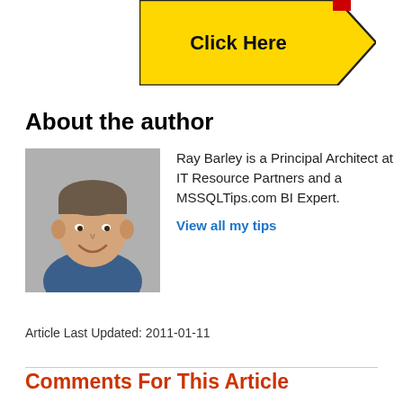[Figure (other): Yellow banner with 'Click Here' text in black bold, with a pentagon/arrow shape outline]
About the author
[Figure (photo): Headshot photo of Ray Barley, a middle-aged man smiling, wearing a blue shirt, gray background]
Ray Barley is a Principal Architect at IT Resource Partners and a MSSQLTips.com BI Expert.
View all my tips
Article Last Updated: 2011-01-11
Comments For This Article